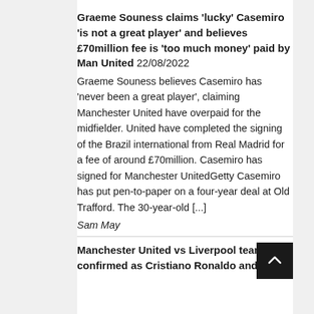Graeme Souness claims 'lucky' Casemiro 'is not a great player' and believes £70million fee is 'too much money' paid by Man United 22/08/2022
Graeme Souness believes Casemiro has 'never been a great player', claiming Manchester United have overpaid for the midfielder. United have completed the signing of the Brazil international from Real Madrid for a fee of around £70million. Casemiro has signed for Manchester UnitedGetty Casemiro has put pen-to-paper on a four-year deal at Old Trafford. The 30-year-old [...]
Sam May
Manchester United vs Liverpool teams confirmed as Cristiano Ronaldo and